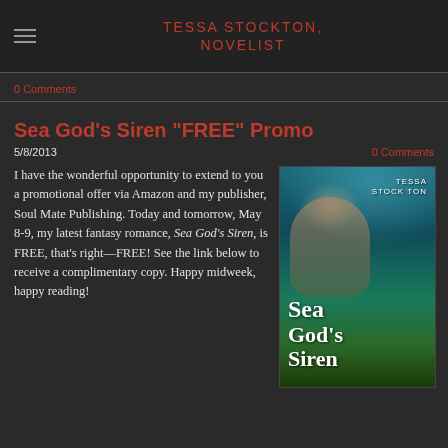TESSA STOCKTON, NOVELIST
0 Comments
Sea God's Siren "FREE" Promo
5/8/2013
0 Comments
I have the wonderful opportunity to extend to you a promotional offer via Amazon and my publisher, Soul Mate Publishing. Today and tomorrow, May 8-9, my latest fantasy romance, Sea God’s Siren, is FREE, that’s right—FREE! See the link below to receive a complimentary copy. Happy midweek, happy reading!
[Figure (illustration): Book cover for Sea God's Siren by Tessa Stockton, showing an underwater scene with a male figure and mermaid, with the title text in large script and coral at the bottom.]